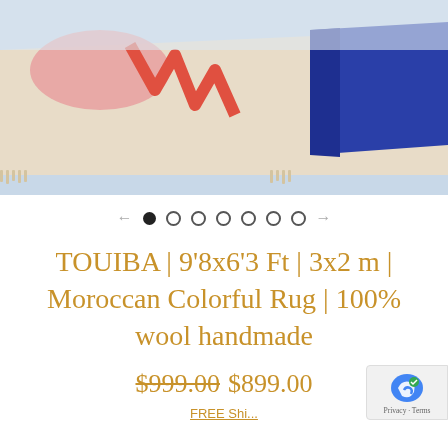[Figure (photo): Close-up photo of a Moroccan rug displayed on a light blue background. The rug features cream/beige wool with colorful geometric patterns: pink and coral/red zigzag shapes on the left and a bold cobalt blue band on the right side.]
← ● ○ ○ ○ ○ ○ ○ →
TOUIBA | 9'8x6'3 Ft | 3x2 m | Moroccan Colorful Rug | 100% wool handmade
$999.00 $899.00
FREE Shi...